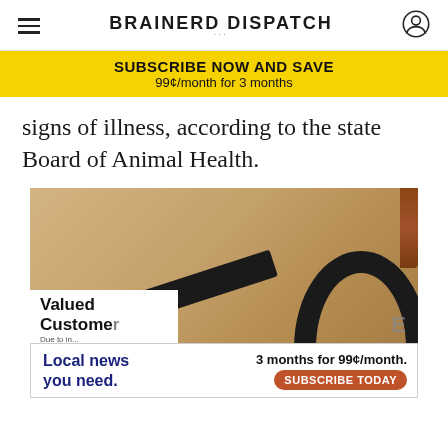BRAINERD DISPATCH
SUBSCRIBE NOW AND SAVE
99¢/month for 3 months
signs of illness, according to the state Board of Animal Health.
[Figure (photo): Close-up photo of a cardboard box with a 'Valued Customer' label, overlaid with a local news advertisement reading 'Local news you need. 3 months for 99¢/month. SUBSCRIBE TODAY']